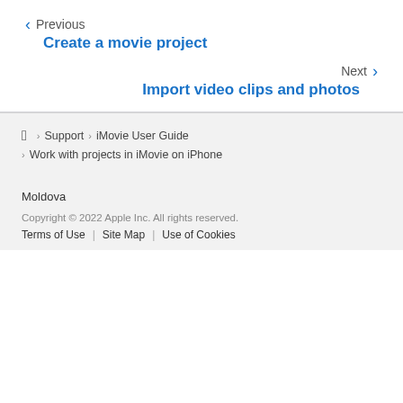Previous
Create a movie project
Next
Import video clips and photos
Apple > Support > iMovie User Guide
> Work with projects in iMovie on iPhone
Moldova
Copyright © 2022 Apple Inc. All rights reserved.
Terms of Use | Site Map | Use of Cookies